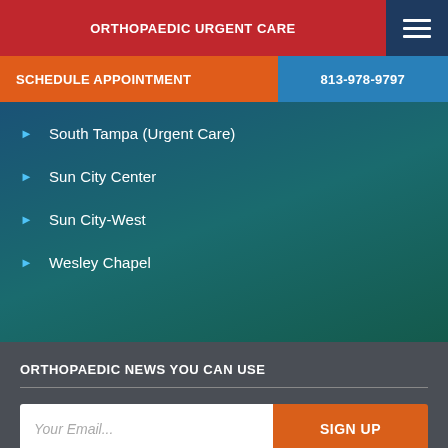ORTHOPAEDIC URGENT CARE
SCHEDULE APPOINTMENT | 813-978-9797
South Tampa (Urgent Care)
Sun City Center
Sun City-West
Wesley Chapel
ORTHOPAEDIC NEWS YOU CAN USE
Your Email... SIGN UP
FLORIDA ORTHOPAEDIC